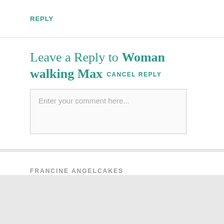REPLY
Leave a Reply to Woman walking Max CANCEL REPLY
Enter your comment here...
FRANCINE ANGELCAKES